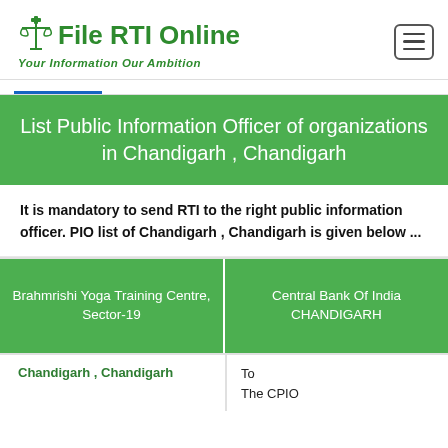[Figure (logo): File RTI Online logo with scales of justice icon and tagline 'Your Information Our Ambition']
List Public Information Officer of organizations in Chandigarh , Chandigarh
It is mandatory to send RTI to the right public information officer. PIO list of Chandigarh , Chandigarh is given below ...
Brahmrishi Yoga Training Centre, Sector-19
Central Bank Of India CHANDIGARH
Chandigarh , Chandigarh
To
The CPIO